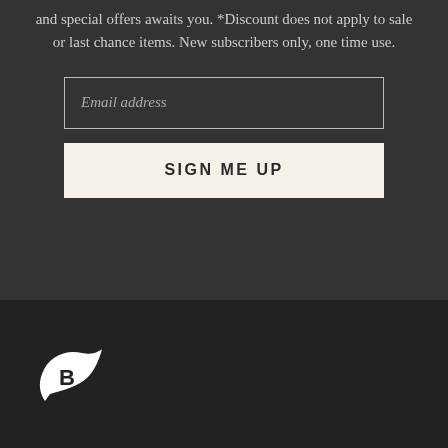and special offers awaits you. *Discount does not apply to sale or last chance items. New subscribers only, one time use.
Email address
SIGN ME UP
[Figure (logo): White stylized bird/arrow logo with letter B on dark background]